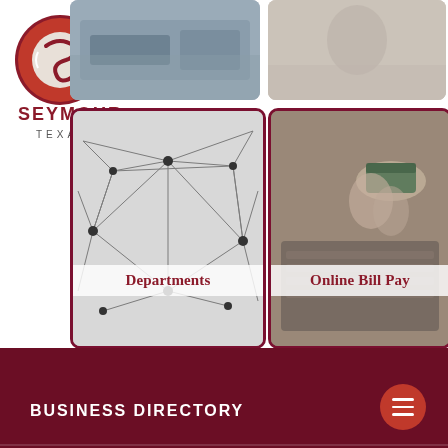[Figure (logo): Seymour Texas city logo - red circular emblem with stylized S and sound waves, text SEYMOUR TEXAS below]
[Figure (photo): Top-left card: grayscale photo of vehicles/street scene]
[Figure (photo): Top-right card: light-toned photo, appears to show a person]
[Figure (photo): Bottom-left card: network/spider web abstract image with Departments label]
[Figure (photo): Bottom-right card: photo of person using laptop and credit card with Online Bill Pay label]
BUSINESS DIRECTORY